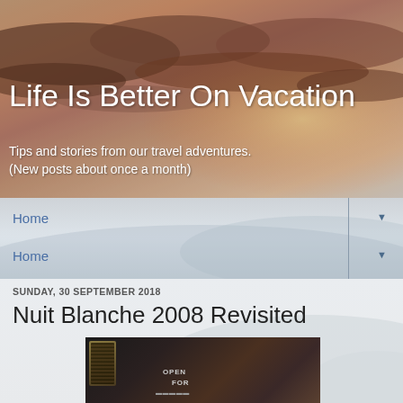[Figure (photo): Travel blog header image showing a dramatic sunset sky with warm orange and pink clouds]
Life Is Better On Vacation
Tips and stories from our travel adventures.
(New posts about once a month)
Home
Home
SUNDAY, 30 SEPTEMBER 2018
Nuit Blanche 2008 Revisited
[Figure (photo): Dark interior photo showing audio speaker equipment and a sign reading OPEN FOR]